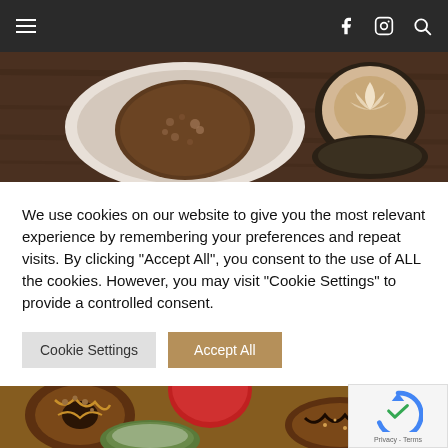Navigation bar with hamburger menu, Facebook, Instagram, and search icons
[Figure (photo): Top-down view of a plate with granola/chocolate toppings and a latte coffee with latte art on a wooden table]
We use cookies on our website to give you the most relevant experience by remembering your preferences and repeat visits. By clicking “Accept All”, you consent to the use of ALL the cookies. However, you may visit “Cookie Settings” to provide a controlled consent.
Cookie Settings | Accept All
[Figure (photo): Overhead view of assorted donuts and pastries including chocolate drizzled, red glazed, and green coconut varieties in a box]